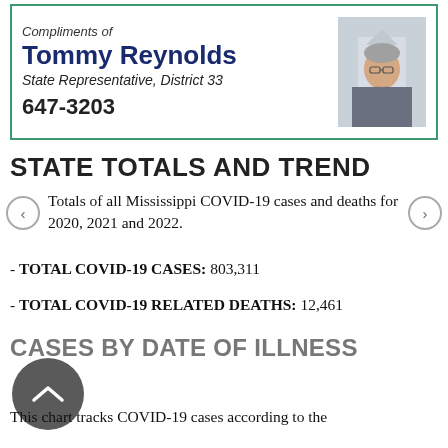[Figure (other): Advertisement banner with photo of Tommy Reynolds, State Representative District 33, phone 647-3203, compliments of header]
STATE TOTALS AND TREND
Totals of all Mississippi COVID-19 cases and deaths for 2020, 2021 and 2022.
- TOTAL COVID-19 CASES: 803,311
- TOTAL COVID-19 RELATED DEATHS: 12,461
CASES BY DATE OF ILLNESS
This chart tracks COVID-19 cases according to the